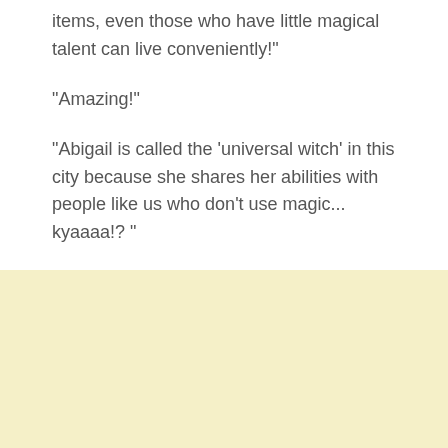items, even those who have little magical talent can live conveniently!"
"Amazing!"
"Abigail is called the 'universal witch' in this city because she shares her abilities with people like us who don't use magic... kyaaaa!? "
"Hmm, what's wrong with Nadia ... Wow ah !?"
"The, the scale!"